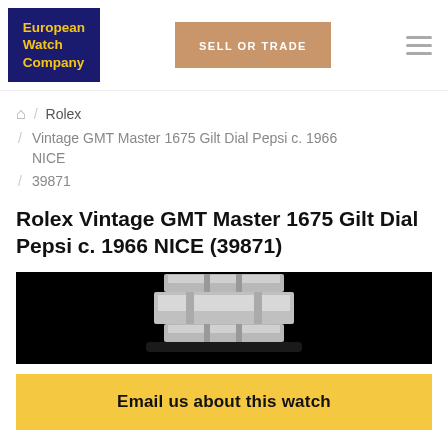European Watch Company | SELL OR TRADE
Home / Rolex / Vintage GMT Master 1675 Gilt Dial Pepsi c. 1966 NICE / 39871
Rolex Vintage GMT Master 1675 Gilt Dial Pepsi c. 1966 NICE (39871)
[Figure (photo): Close-up photo of a Rolex watch clasp/bracelet on a black background]
Email us about this watch